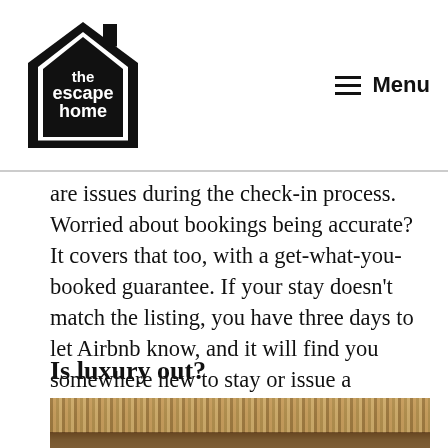the escape home — Menu
are issues during the check-in process. Worried about bookings being accurate? It covers that too, with a get-what-you-booked guarantee. If your stay doesn't match the listing, you have three days to let Airbnb know, and it will find you somewhere new to stay or issue a refund. Lastly, the company introduced a 24-hour safety line.
Is luxury out?
[Figure (photo): Photo of a thatched roof structure with a person visible, outdoor tropical setting]